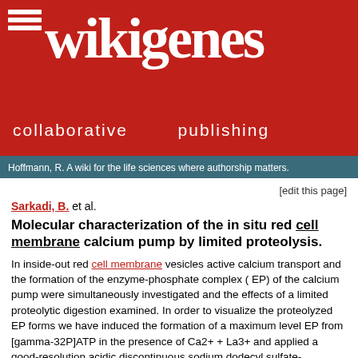[Figure (logo): WikiGenes collaborative publishing logo — white text on red background with menu icon, large 'wikigenes' wordmark, and tagline 'collaborative publishing']
Hoffmann, R. A wiki for the life sciences where authorship matters.
[edit this page]
Sarkadi, B. et al.
Molecular characterization of the in situ red cell membrane calcium pump by limited proteolysis.
In inside-out red cell membrane vesicles active calcium transport and the formation of the enzyme-phosphate complex ( EP) of the calcium pump were simultaneously investigated and the effects of a limited proteolytic digestion examined. In order to visualize the proteolyzed EP forms we have induced the formation of a maximum level EP from [gamma-32P]ATP in the presence of Ca2+ + La3+ and applied a good-resolution acidic discontinuous sodium dodecyl sulfate-polyacrylamide gel electrophoresis system. Proteolysis of